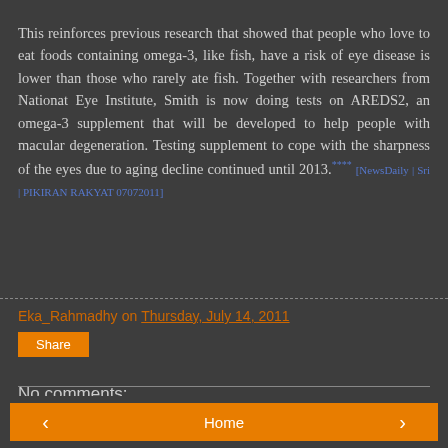This reinforces previous research that showed that people who love to eat foods containing omega-3, like fish, have a risk of eye disease is lower than those who rarely ate fish. Together with researchers from Nationat Eye Institute, Smith is now doing tests on AREDS2, an omega-3 supplement that will be developed to help people with macular degeneration. Testing supplement to cope with the sharpness of the eyes due to aging decline continued until 2013.**** [NewsDaily | Sri | PIKIRAN RAKYAT 07072011]
Eka_Rahmadhy on Thursday, July 14, 2011
Share
No comments:
Post a Comment
< Home >